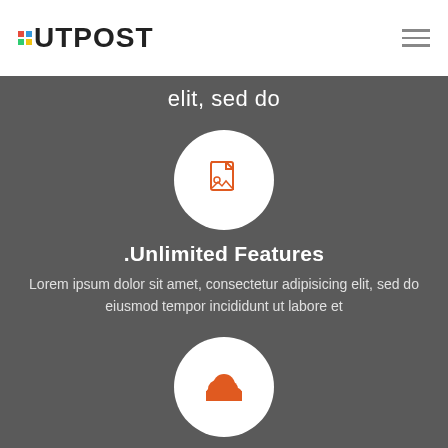[Figure (logo): OUTPOST logo with colorful square dot icon on white navbar background]
[Figure (other): Hamburger menu icon (three horizontal lines) in top right of navbar]
elit, sed do
[Figure (illustration): White circle with orange document/image file icon inside]
.Unlimited Features
Lorem ipsum dolor sit amet, consectetur adipisicing elit, sed do eiusmod tempor incididunt ut labore et
[Figure (illustration): White circle with orange cloud icon inside]
Cloud Storage